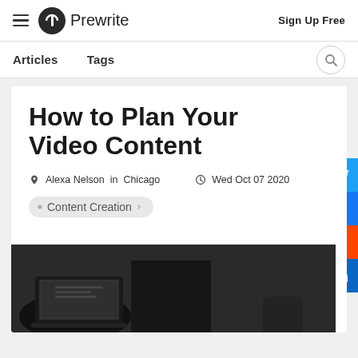Prewrite — Sign Up Free
Articles   Tags
How to Plan Your Video Content
Alexa Nelson  in Chicago   Wed Oct 07 2020
Content Creation
[Figure (photo): Black and white photo of a person working at a desk with a laptop or camera equipment]